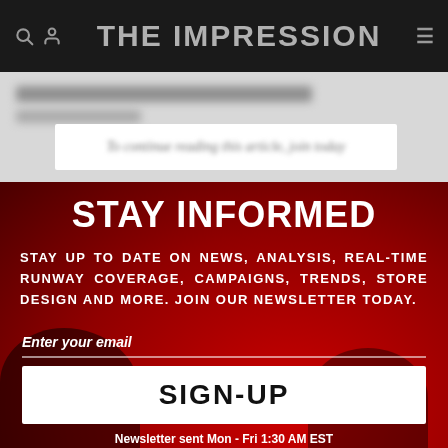THE IMPRESSION
[Figure (screenshot): Blurred/redacted article text behind paywall with partial text visible: 'To continue reading this article, join today']
STAY INFORMED
STAY UP TO DATE ON NEWS, ANALYSIS, REAL-TIME RUNWAY COVERAGE, CAMPAIGNS, TRENDS, STORE DESIGN AND MORE. JOIN OUR NEWSLETTER TODAY.
Enter your email
SIGN-UP
Newsletter sent Mon - Fri 1:30 AM EST